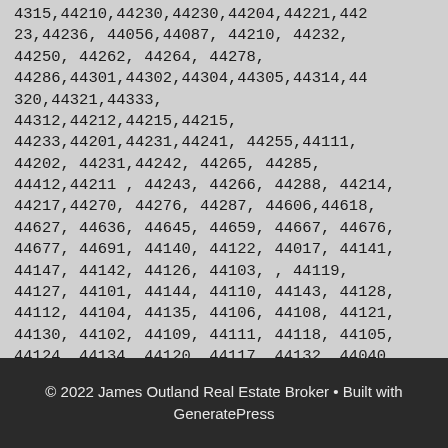4315,44210,44230,44230,44204,44221,44223,44236, 44056,44087, 44210, 44232, 44250, 44262, 44264, 44278, 44286,44301,44302,44304,44305,44314,44320,44321,44333, 44312,44212,44215,44215, 44233,44201,44231,44241, 44255,44111, 44202, 44231,44242, 44265, 44285, 44412,44211 , 44243, 44266, 44288, 44214, 44217,44270, 44276, 44287, 44606,44618, 44627, 44636, 44645, 44659, 44667, 44676, 44677, 44691, 44140, 44122, 44017, 44141, 44147, 44142, 44126, 44103, , 44119, 44127, 44101, 44144, 44110, 44143, 44128, 44112, 44104, 44135, 44106, 44108, 44121, 44130, 44102, 44109, 44111, 44118, 44105, 44124, 44134, 44120, 44117, 44132, 44040, 44131, 44107, 44137, 44070, 44133, 44138, 44116, 44139, 44149, 44136, 44145
© 2022 James Outland Real Estate Broker • Built with GeneratePress